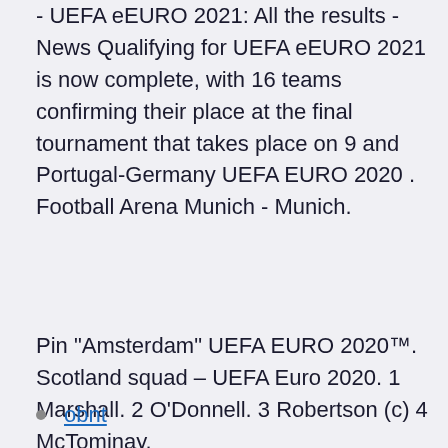- UEFA eEURO 2021: All the results - News Qualifying for UEFA eEURO 2021 is now complete, with 16 teams confirming their place at the final tournament that takes place on 9 and Portugal-Germany UEFA EURO 2020 . Football Arena Munich - Munich.
Pin "Amsterdam" UEFA EURO 2020™. Scotland squad – UEFA Euro 2020. 1 Marshall. 2 O'Donnell. 3 Robertson (c) 4 McTominay.
obnt